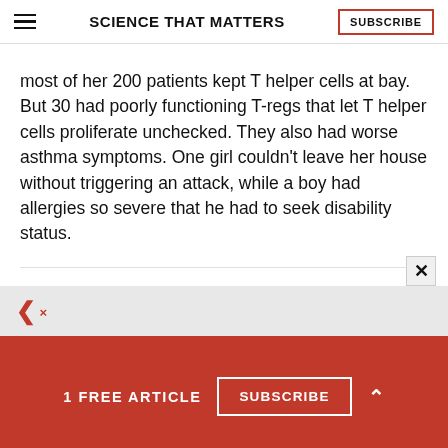SCIENCE THAT MATTERS | SUBSCRIBE
most of her 200 patients kept T helper cells at bay. But 30 had poorly functioning T-regs that let T helper cells proliferate unchecked. They also had worse asthma symptoms. One girl couldn't leave her house without triggering an attack, while a boy had allergies so severe that he had to seek disability status.
1 FREE ARTICLE  SUBSCRIBE